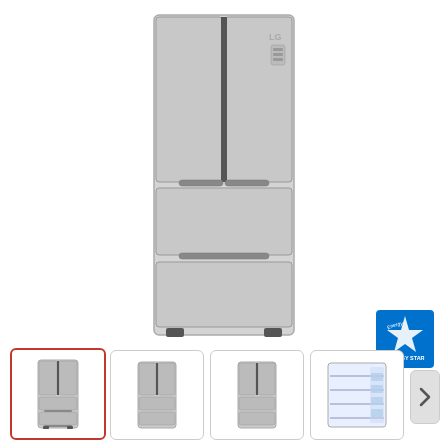[Figure (photo): LG stainless steel French door multi-drawer refrigerator, front view, showing two French doors on top and two freezer drawers below]
[Figure (logo): Energy Star certification badge in blue]
[Figure (photo): Thumbnail 1 (selected): LG refrigerator front view, small]
[Figure (photo): Thumbnail 2: LG refrigerator front view, small]
[Figure (photo): Thumbnail 3: LG refrigerator front view, small]
[Figure (photo): Thumbnail 4: LG refrigerator interior view showing shelves]
[Figure (other): Navigation arrow button pointing right]